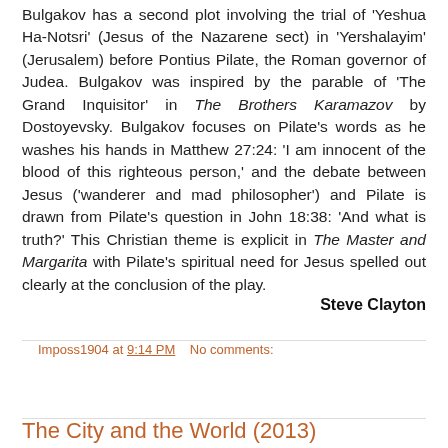Bulgakov has a second plot involving the trial of 'Yeshua Ha-Notsri' (Jesus of the Nazarene sect) in 'Yershalayim' (Jerusalem) before Pontius Pilate, the Roman governor of Judea. Bulgakov was inspired by the parable of 'The Grand Inquisitor' in The Brothers Karamazov by Dostoyevsky. Bulgakov focuses on Pilate's words as he washes his hands in Matthew 27:24: 'I am innocent of the blood of this righteous person,' and the debate between Jesus ('wanderer and mad philosopher') and Pilate is drawn from Pilate's question in John 18:38: 'And what is truth?' This Christian theme is explicit in The Master and Margarita with Pilate's spiritual need for Jesus spelled out clearly at the conclusion of the play.
Steve Clayton
Imposs1904 at 9:14 PM   No comments:
Share
The City and the World (2013)